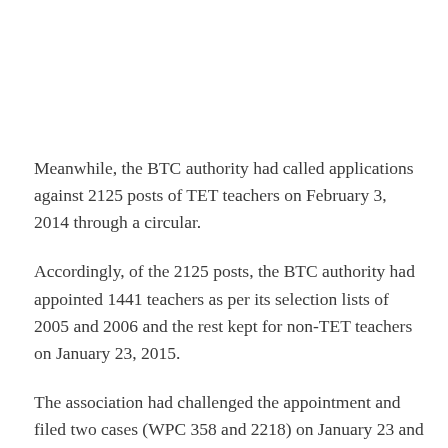Meanwhile, the BTC authority had called applications against 2125 posts of TET teachers on February 3, 2014 through a circular.
Accordingly, of the 2125 posts, the BTC authority had appointed 1441 teachers as per its selection lists of 2005 and 2006 and the rest kept for non-TET teachers on January 23, 2015.
The association had challenged the appointment and filed two cases (WPC 358 and 2218) on January 23 and April